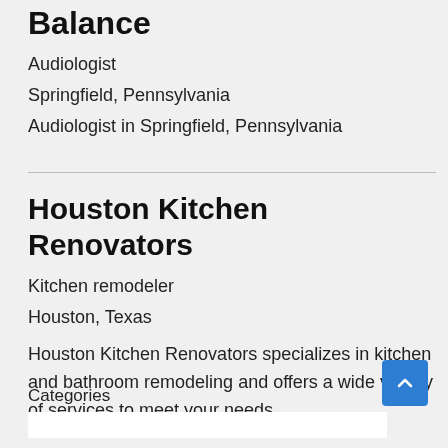Balance
Audiologist
Springfield, Pennsylvania
Audiologist in Springfield, Pennsylvania
Houston Kitchen Renovators
Kitchen remodeler
Houston, Texas
Houston Kitchen Renovators specializes in kitchen and bathroom remodeling and offers a wide variety of services to meet your needs.
Categories